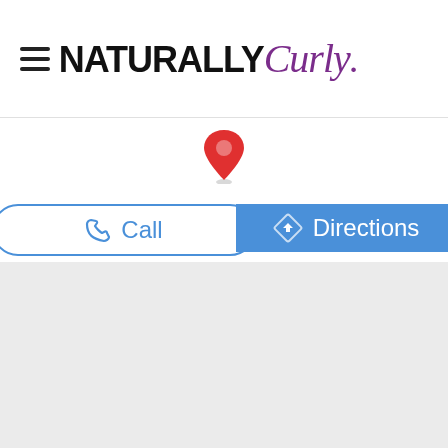NATURALLY Curly
[Figure (screenshot): Red map location pin icon]
[Figure (screenshot): Call button with phone icon and Directions button with navigation icon]
[Figure (map): Gray map area placeholder]